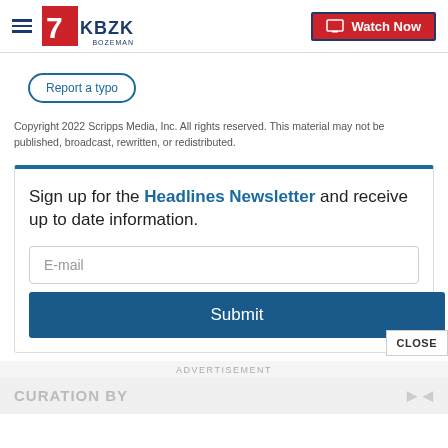KBZK Bozeman — Watch Now
Report a typo
Copyright 2022 Scripps Media, Inc. All rights reserved. This material may not be published, broadcast, rewritten, or redistributed.
Sign up for the Headlines Newsletter and receive up to date information.
E-mail
Submit
CLOSE
ADVERTISEMENT
CURATION BY